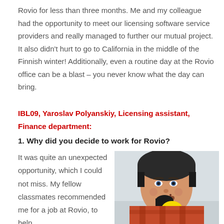Rovio for less than three months. Me and my colleague had the opportunity to meet our licensing software service providers and really managed to further our mutual project. It also didn't hurt to go to California in the middle of the Finnish winter! Additionally, even a routine day at the Rovio office can be a blast – you never know what the day can bring.
IBL09, Yaroslav Polyanskiy, Licensing assistant, Finance department:
1. Why did you decide to work for Rovio?
It was quite an unexpected opportunity, which I could not miss. My fellow classmates recommended me for a job at Rovio, to help
[Figure (photo): A young man wearing a dark beanie hat and a plaid shirt, holding a yellow object near his mouth, in an office environment.]